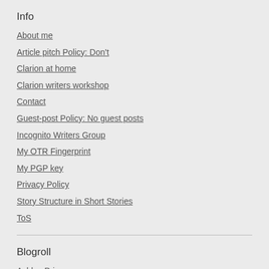Info
About me
Article pitch Policy: Don't
Clarion at home
Clarion writers workshop
Contact
Guest-post Policy: No guest posts
Incognito Writers Group
My OTR Fingerprint
My PGP key
Privacy Policy
Story Structure in Short Stories
ToS
Blogroll
Ashley Price
Beth Adele Long
Jackie Brewer